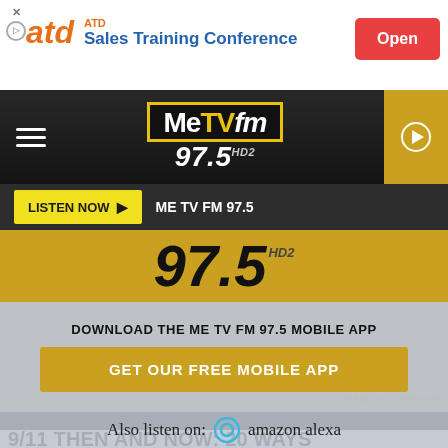[Figure (screenshot): ATD Sales Training Conference advertisement banner with orange ATD logo, blue headline text, and red Open button]
[Figure (logo): MeTV FM 97.5 logo on dark background navigation bar with hamburger menu and play button]
LISTEN NOW ▶  ME TV FM 97.5
[Figure (screenshot): MeTV FM 97.5 app promotion section with gold background showing 97.5 HD2, download prompt, gold GET OUR FREE MOBILE APP button, and Amazon Alexa listen option]
DOWNLOAD THE ME TV FM 97.5 MOBILE APP
GET OUR FREE MOBILE APP
Also listen on:  amazon alexa
BLAZE Pro // Shutterstock
9/11 THEN AND NOW: 20 WAYS